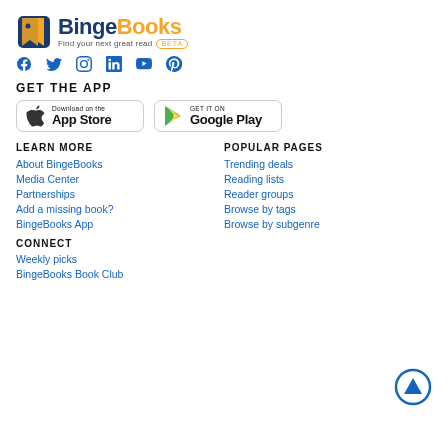[Figure (logo): BingeBooks logo with bookmark icon, text 'BingeBooks', tagline 'Find your next great read' and BETA badge]
[Figure (infographic): Social media icons: Facebook, Twitter, Instagram, LinkedIn, YouTube, Pinterest]
GET THE APP
[Figure (infographic): App Store download button and Google Play button]
LEARN MORE
About BingeBooks
Media Center
Partnerships
Add a missing book?
BingeBooks App
POPULAR PAGES
Trending deals
Reading lists
Reader groups
Browse by tags
Browse by subgenre
CONNECT
Weekly picks
BingeBooks Book Club